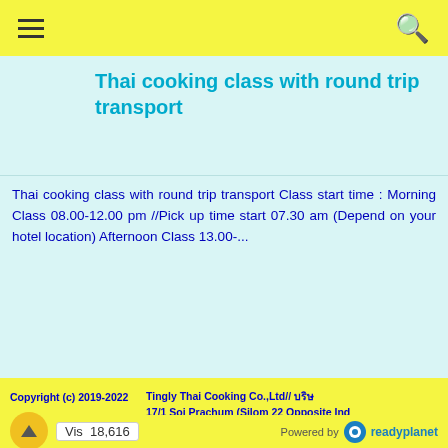≡  🔍
Thai cooking class with round trip transport
Thai cooking class with round trip transport Class start time : Morning Class 08.00-12.00 pm //Pick up time start 07.30 am (Depend on your hotel location) Afternoon Class 13.00-...
Copyright (c) 2019-2022   Tingly Thai Cooking Co.,Ltd// บริษ   17/1 Soi Prachum (Silom 22 Opposite Ind   Tel 020707998 // +6620707998 | Fax 020   Email: tinglythaicooking@hotmail.com
Vis  18,616   Powered by readyplanet